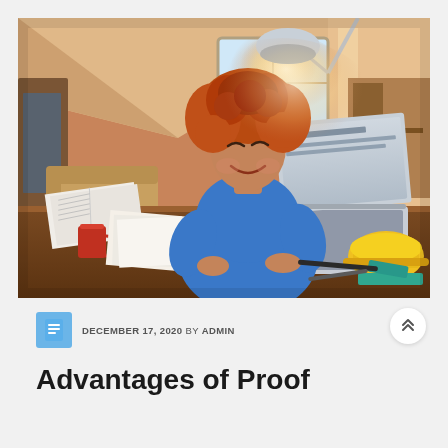[Figure (photo): A young woman with curly red hair wearing a blue sweater smiles while typing on a laptop at a wooden desk. The desk has open books, a red mug, papers, glasses, a smartphone, and a yellow hard hat. The background shows a warmly lit home office/attic room with soft sunlight coming through a window.]
DECEMBER 17, 2020 BY ADMIN
Advantages of Proof